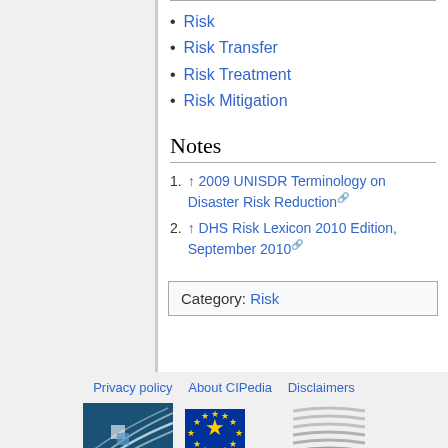Risk
Risk Transfer
Risk Treatment
Risk Mitigation
Notes
1. ↑ 2009 UNISDR Terminology on Disaster Risk Reduction
2. ↑ DHS Risk Lexicon 2010 Edition, September 2010
Category: Risk
Privacy policy   About CIPedia   Disclaimers